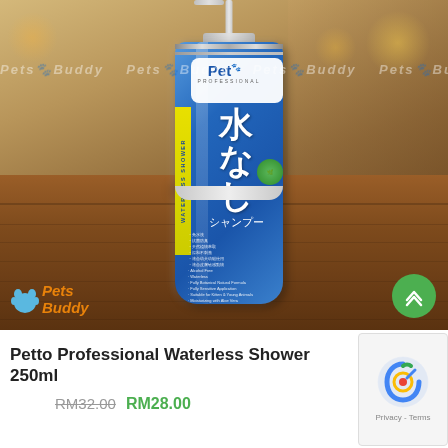[Figure (photo): Product photo of Petto Professional Waterless Shower shampoo bottle (250ml). Blue spray bottle with Japanese text (水なし シャンプー meaning 'waterless shampoo'), yellow stripe on the side reading 'WATERLESS SHOWER', white label with 'Pet Professional' logo on top. Bottle is sitting on a wooden table with bokeh background. Pets Buddy watermark across the image and logo in bottom-left corner. Green scroll-to-top button in bottom-right.]
Petto Professional Waterless Shower 250ml
RM32.00 RM28.00